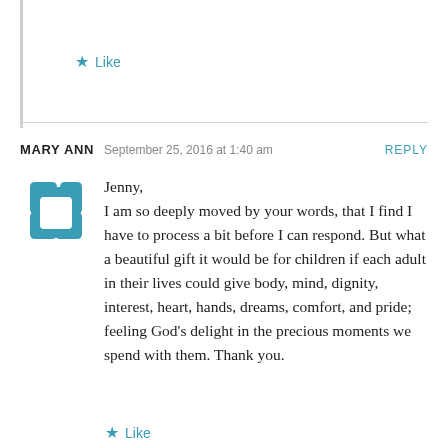Like
MARY ANN  September 25, 2016 at 1:40 am  REPLY
Jenny,
I am so deeply moved by your words, that I find I have to process a bit before I can respond. But what a beautiful gift it would be for children if each adult in their lives could give body, mind, dignity, interest, heart, hands, dreams, comfort, and pride; feeling God's delight in the precious moments we spend with them. Thank you.